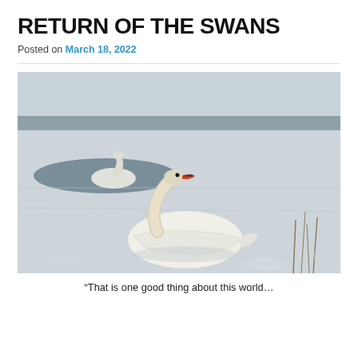RETURN OF THE SWANS
Posted on March 18, 2022
[Figure (photo): Two white swans on a partially frozen icy lake or river. One swan is in the foreground resting on ice with its neck curved back, showing an orange-red beak. A second swan is visible in the background in the water between ice sheets. The scene is wintry with snow and ice covering most of the surface.]
“That is one good thing about this world…